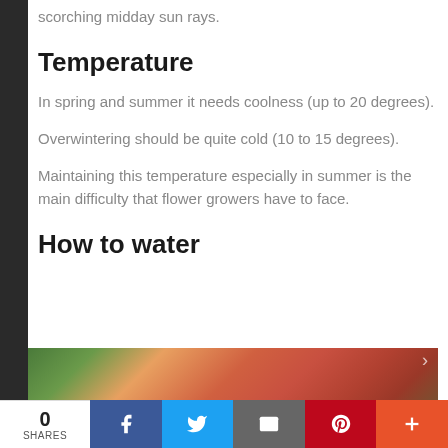scorching midday sun rays.
Temperature
In spring and summer it needs coolness (up to 20 degrees).
Overwintering should be quite cold (10 to 15 degrees).
Maintaining this temperature especially in summer is the main difficulty that flower growers have to face.
How to water
[Figure (photo): Photo of colorful flowers including red and orange poinsettia-like blooms with green foliage]
0 SHARES | Facebook | Twitter | Email | Pinterest | More